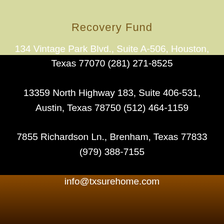Recovery Fund
134 Vintage Park Blvd., Suite A-506, Houston, Texas 77070 (281) 271-8525
13359 North Highway 183, Suite 406-531, Austin, Texas 78750 (512) 464-1159
7855 Richardson Ln., Brenham, Texas 77833 (979) 388-7155
info@txsurehome.com